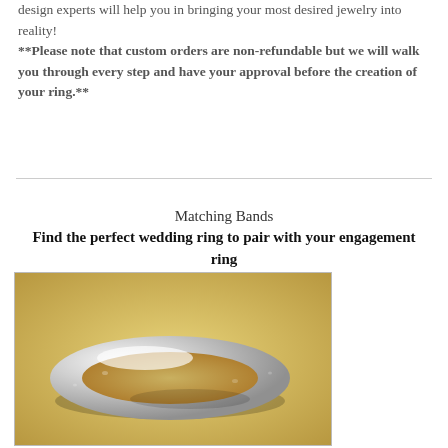design experts will help you in bringing your most desired jewelry into reality! **Please note that custom orders are non-refundable but we will walk you through every step and have your approval before the creation of your ring.**
Matching Bands
Find the perfect wedding ring to pair with your engagement ring
[Figure (photo): Photo of a silver/white gold wedding band ring on a warm golden-yellow background, showing the ring from a slight angle with visible texture and shine.]